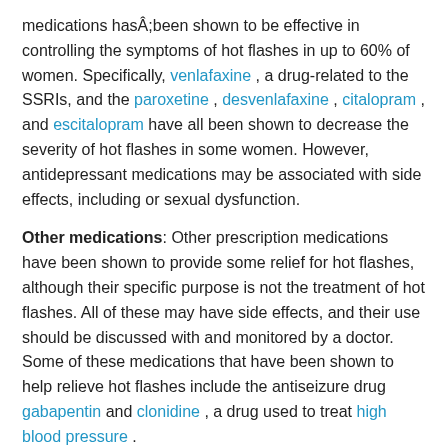medications hasÂ;been shown to be effective in controlling the symptoms of hot flashes in up to 60% of women. Specifically, venlafaxine , a drug-related to the SSRIs, and the paroxetine , desvenlafaxine , citalopram , and escitalopram have all been shown to decrease the severity of hot flashes in some women. However, antidepressant medications may be associated with side effects, including or sexual dysfunction.
Other medications: Other prescription medications have been shown to provide some relief for hot flashes, although their specific purpose is not the treatment of hot flashes. All of these may have side effects, and their use should be discussed with and monitored by a doctor. Some of these medications that have been shown to help relieve hot flashes include the antiseizure drug gabapentin and clonidine , a drug used to treat high blood pressure .